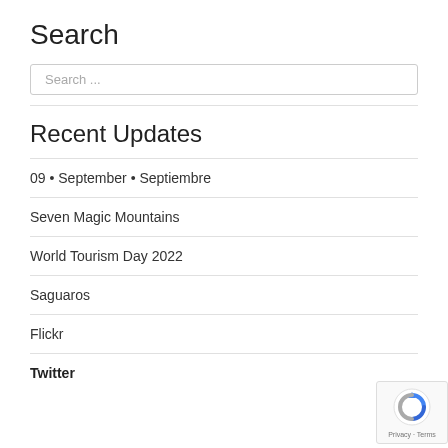Search
Search ...
Recent Updates
09 • September • Septiembre
Seven Magic Mountains
World Tourism Day 2022
Saguaros
Flickr
Twitter